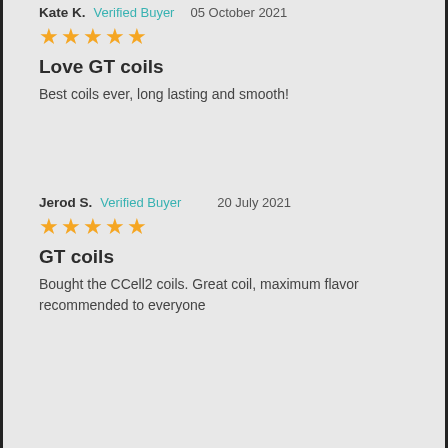Kate K.  Verified Buyer  05 October 2021
★★★★★
Love GT coils
Best coils ever, long lasting and smooth!
Jerod S.  Verified Buyer  20 July 2021
★★★★★
GT coils
Bought the CCell2 coils. Great coil, maximum flavor recommended to everyone